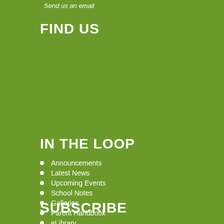Send us an email
FIND US
IN THE LOOP
Announcements
Latest News
Upcoming Events
School Notes
Galleries
Parent Handbook
eLibrary
SUBSCRIBE